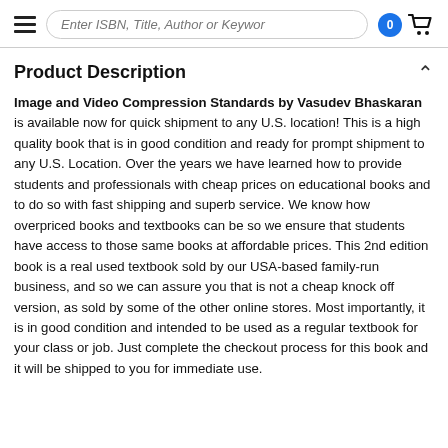Enter ISBN, Title, Author or Keyword | 0 | cart
Product Description
Image and Video Compression Standards by Vasudev Bhaskaran is available now for quick shipment to any U.S. location! This is a high quality book that is in good condition and ready for prompt shipment to any U.S. Location. Over the years we have learned how to provide students and professionals with cheap prices on educational books and to do so with fast shipping and superb service. We know how overpriced books and textbooks can be so we ensure that students have access to those same books at affordable prices. This 2nd edition book is a real used textbook sold by our USA-based family-run business, and so we can assure you that is not a cheap knock off version, as sold by some of the other online stores. Most importantly, it is in good condition and intended to be used as a regular textbook for your class or job. Just complete the checkout process for this book and it will be shipped to you for immediate use.